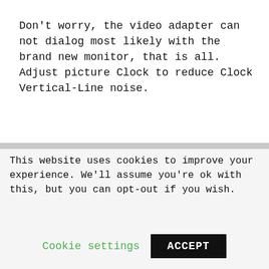Don't worry, the video adapter can not dialog most likely with the brand new monitor, that is all. Adjust picture Clock to reduce Clock Vertical-Line noise.
We delete comments that violate our policywhich we encourage you to read.
This website uses cookies to improve your experience. We'll assume you're ok with this, but you can opt-out if you wish.
Cookie settings   ACCEPT